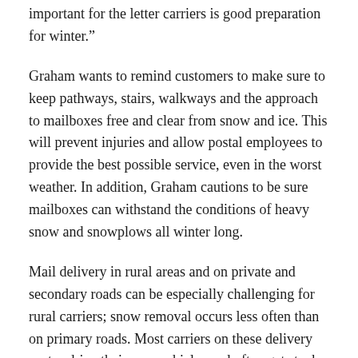important for the letter carriers is good preparation for winter.”
Graham wants to remind customers to make sure to keep pathways, stairs, walkways and the approach to mailboxes free and clear from snow and ice. This will prevent injuries and allow postal employees to provide the best possible service, even in the worst weather. In addition, Graham cautions to be sure mailboxes can withstand the conditions of heavy snow and snowplows all winter long.
Mail delivery in rural areas and on private and secondary roads can be especially challenging for rural carriers; snow removal occurs less often than on primary roads. Most carriers on these delivery routes drive their own vehicles and often get stuck or cannot access the mail boxes due to snow and ice buildup. Removing the snow from around these mailboxes is definitely appreciated, he said.